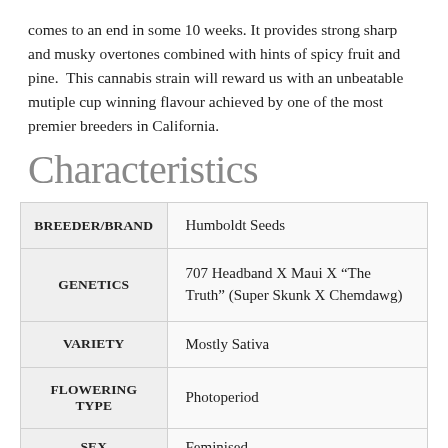comes to an end in some 10 weeks. It provides strong sharp and musky overtones combined with hints of spicy fruit and pine.  This cannabis strain will reward us with an unbeatable mutiple cup winning flavour achieved by one of the most premier breeders in California.
Characteristics
| Attribute | Value |
| --- | --- |
| BREEDER/BRAND | Humboldt Seeds |
| GENETICS | 707 Headband X Maui X “The Truth” (Super Skunk X Chemdawg) |
| VARIETY | Mostly Sativa |
| FLOWERING TYPE | Photoperiod |
| SEX | Feminised |